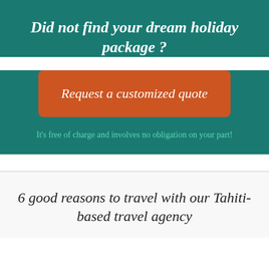Did not find your dream holiday package ?
Request a customized quote
It's free of charge and involves no obligation on your part!
6 good reasons to travel with our Tahiti-based travel agency